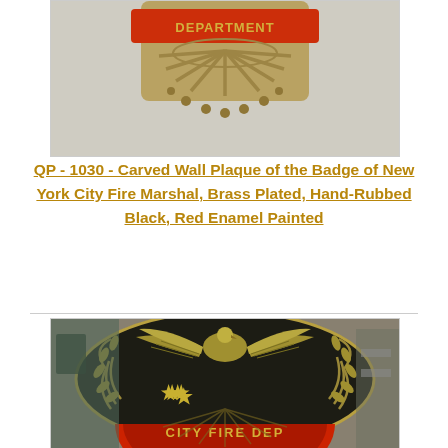[Figure (photo): Close-up photo of a brass-plated fire marshal badge showing 'DEPARTMENT' text in red enamel on an ornate badge top with decorative sunburst and laurel elements, brass/antique finish.]
QP - 1030 - Carved Wall Plaque of the Badge of New York City Fire Marshal, Brass Plated, Hand-Rubbed Black, Red Enamel Painted
[Figure (photo): Close-up photo of a large carved wall plaque of the New York City Fire Department badge/seal. Shows a brass-plated eagle with wings spread at top, five-pointed stars below, ornate laurel wreath branches on sides, and a red enamel semicircle at bottom reading 'CITY FIRE DEP'. Carved from wood with brass plating and hand-rubbed black finish.]